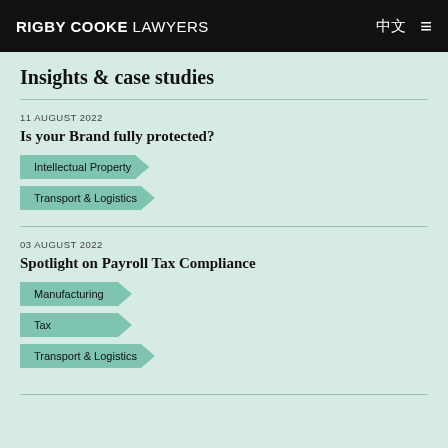RIGBY COOKE LAWYERS 中文 ☰
Insights & case studies
11 AUGUST 2022
Is your Brand fully protected?
Intellectual Property
Transport & Logistics
03 AUGUST 2022
Spotlight on Payroll Tax Compliance
Manufacturing
Tax
Transport & Logistics